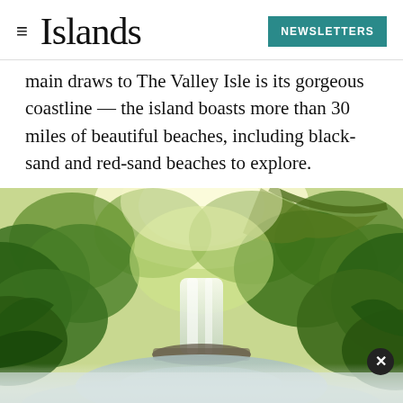Islands — NEWSLETTERS
main draws to The Valley Isle is its gorgeous coastline — the island boasts more than 30 miles of beautiful beaches, including black-sand and red-sand beaches to explore.
[Figure (photo): A lush tropical rainforest scene with a waterfall cascading into a still pool, surrounded by dense green foliage and trees. Bright sunlight filters through the canopy.]